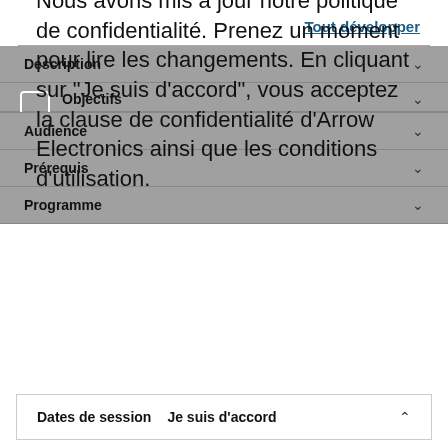Tout développer
Description
Objectifs
Nous avons mis à jour notre politique de confidentialité. Prenez un moment pour lire les changements. En cliquant sur "Je suis d'accord", vous acceptez la clause de confidentialité d'Arrow Electronics ainsi que les conditions d'utilisation.
Audience
Prérequis
Programme
Dates de session
Je suis d'accord